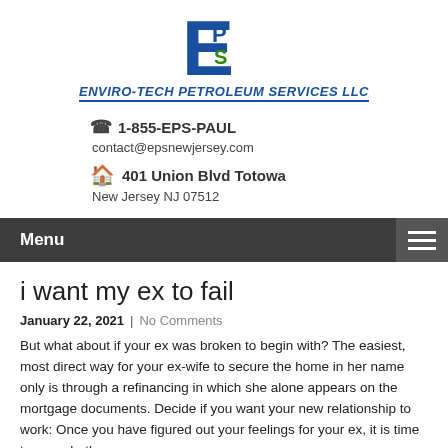[Figure (logo): Enviro-Tech Petroleum Services LLC logo with large blue E and green PS letters, and company name in italic bold blue text]
1-855-EPS-PAUL
contact@epsnewjersey.com
401 Union Blvd Totowa
New Jersey NJ 07512
Menu
i want my ex to fail
January 22, 2021  |  No Comments
But what about if your ex was broken to begin with? The easiest, most direct way for your ex-wife to secure the home in her name only is through a refinancing in which she alone appears on the mortgage documents. Decide if you want your new relationship to work: Once you have figured out your feelings for your ex, it is time to see whether